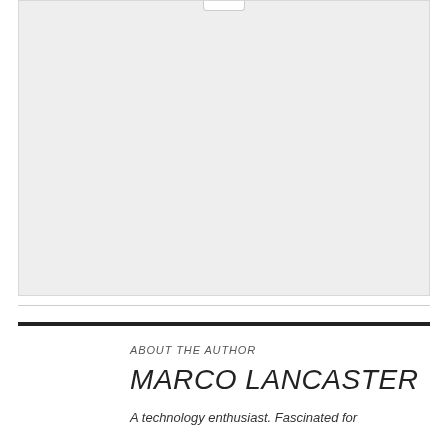[Figure (photo): Large light gray rectangular image placeholder area with a small notch/tab at the top center]
ABOUT THE AUTHOR
MARCO LANCASTER
A technology enthusiast. Fascinated for